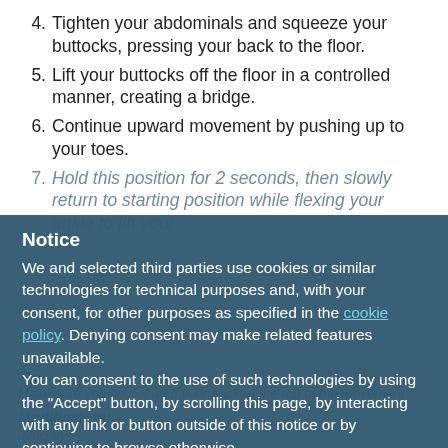4. Tighten your abdominals and squeeze your buttocks, pressing your back to the floor.
5. Lift your buttocks off the floor in a controlled manner, creating a bridge.
6. Continue upward movement by pushing up to your toes.
7. Hold this position for 2 seconds, then slowly return to starting position while flexing your ankle to lift your toes off the floor.
Tip:
Make sure you do not arch your back at the top of the movement.
Modification:
difficulty.
Challenge:
Place or dumbbell on your pelvis and perform
Notice

We and selected third parties use cookies or similar technologies for technical purposes and, with your consent, for other purposes as specified in the cookie policy. Denying consent may make related features unavailable.
You can consent to the use of such technologies by using the "Accept" button, by scrolling this page, by interacting with any link or button outside of this notice or by continuing to browse otherwise.
Reject
Accept
Learn more and customize
English